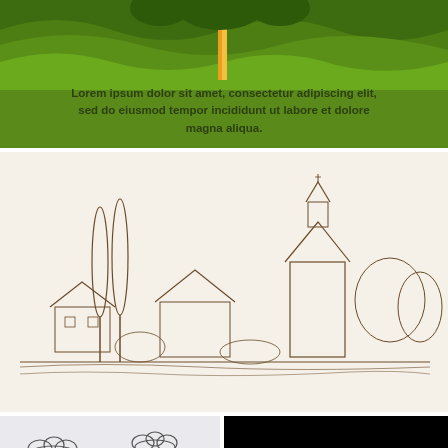[Figure (illustration): Green layered paper-cut style landscape with wavy hills, trees, and an orange/yellow tree trunk in the center. Lorem ipsum placeholder text overlaid on the green background.]
Lorem ipsum dolor sit amet, consectetur adipiscing elit, sed do eiusmod tempor incididunt ut labore et dolore magna aliqua.
[Figure (illustration): Detailed pen-and-ink sketch drawing of a European village scene with a church tower, houses, cypress trees, and surrounding vegetation on a cream/beige background.]
[Figure (illustration): Hand-drawn outline sketches of various cloud shapes on a light gray/white background.]
[Figure (illustration): Rainbow arc over a silhouette of a person/figure on a black background with colored dots representing chakra points on the figure.]